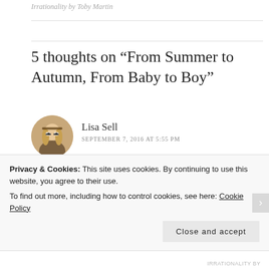Irrationality by Toby Martin
5 thoughts on “From Summer to Autumn, From Baby to Boy”
Lisa Sell
SEPTEMBER 7, 2016 AT 5:55 PM
Just gorgeous and the seasons are a lovely analogy for growing up. Love the descriptive detail in this. I have a
Privacy & Cookies: This site uses cookies. By continuing to use this website, you agree to their use.
To find out more, including how to control cookies, see here: Cookie Policy
Close and accept